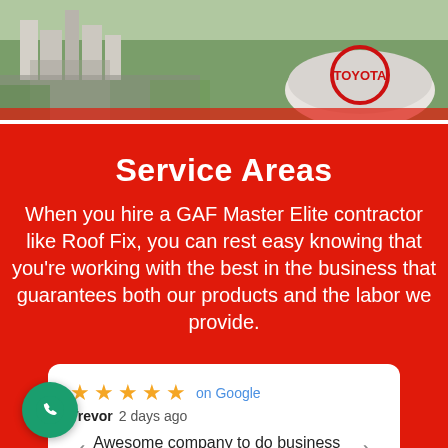[Figure (photo): Aerial view of a city skyline with buildings and a large domed stadium (Toyota Center) visible from above.]
Service Areas
When you hire a GAF Master Elite contractor like Roof Fix, you can rest easy knowing that you're working with the best in the business that guarantees both our products and the labor we provide.
[Figure (screenshot): Google review card showing 5 stars on Google, reviewer Trevor 2 days ago, with text: Awesome company to do business with more...]
[Figure (other): Green circular phone call button (FAB) in bottom left corner.]